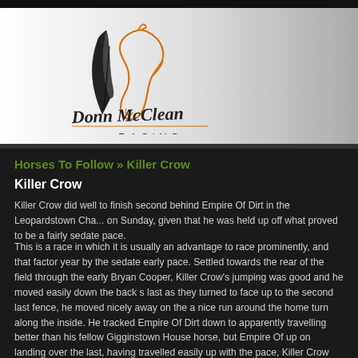[Figure (logo): Donn McClean Racing logo — horse head outline in orange with a quill feather in black, handwritten 'Donn McClean' script, and 'RACING' in spaced capitals, on a white/silver gradient background]
Horses To Follow » Killer Crow
Killer Crow
Killer Crow did well to finish second behind Empire Of Dirt in the Leopardstown Cha... on Sunday, given that he was held up off what proved to be a fairly sedate pace.
This is a race in which it is usually an advantage to race prominently, and that factor year by the sedate early pace. Settled towards the rear of the field through the early Bryan Cooper, Killer Crow's jumping was good and he moved easily down the back s last as they turned to face up to the second last fence, he moved nicely away on the a nice run around the home turn along the inside. He tracked Empire Of Dirt down to apparently travelling better than his fellow Gigginstown House horse, but Empire Of up on landing over the last, having travelled easily up with the pace, Killer Crow pick two and a half lengths clear of Seabass in third, but he couldn't close the gap on Em went down by two lengths in the end.